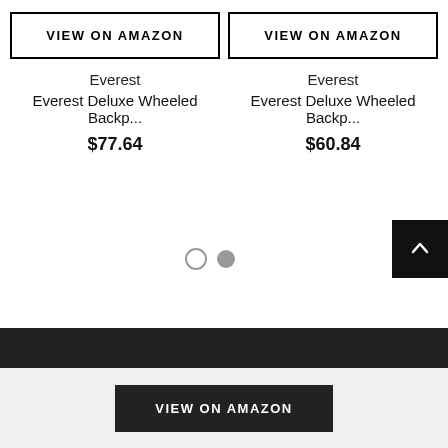VIEW ON AMAZON
Everest
Everest Deluxe Wheeled Backp...
$77.64
VIEW ON AMAZON
Everest
Everest Deluxe Wheeled Backp...
$60.84
[Figure (other): Pagination dots: one empty circle and one filled circle indicating carousel page 2 of 2]
[Figure (other): Back-to-top button: dark square with upward arrow chevron]
VIEW ON AMAZON